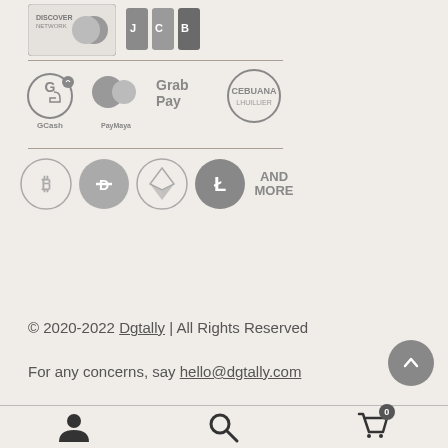[Figure (logo): Discover Network and JCB payment method logos in grayscale]
[Figure (logo): GCash, PayMaya, GrabPay, and Cebuana Lhuillier payment method logos in grayscale]
[Figure (logo): Bitcoin, Dash, Ethereum, Litecoin cryptocurrency logos in grayscale with 'AND MORE' text]
© 2020-2022 Dgtally | All Rights Reserved
For any concerns, say hello@dgtally.com
[Figure (infographic): Bottom navigation bar with user profile icon, search icon, and shopping cart icon with badge showing 0]